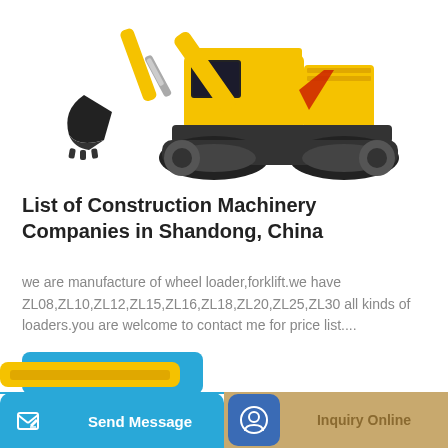[Figure (photo): Yellow construction excavator on white background, side view, arm extended with bucket]
List of Construction Machinery Companies in Shandong, China
we are manufacture of wheel loader,forklift.we have ZL08,ZL10,ZL12,ZL15,ZL16,ZL18,ZL20,ZL25,ZL30 all kinds of loaders.you are welcome to contact me for price list....
Learn More
Send Message
Inquiry Online